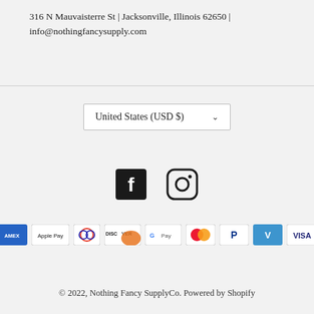316 N Mauvaisterre St | Jacksonville, Illinois 62650 | info@nothingfancysupply.com
[Figure (other): Currency selector dropdown showing United States (USD $) with a chevron arrow]
[Figure (other): Social media icons: Facebook and Instagram]
[Figure (other): Payment method icons: American Express, Apple Pay, Diners Club, Discover, Google Pay, Mastercard, PayPal, Venmo, Visa]
© 2022, Nothing Fancy SupplyCo. Powered by Shopify